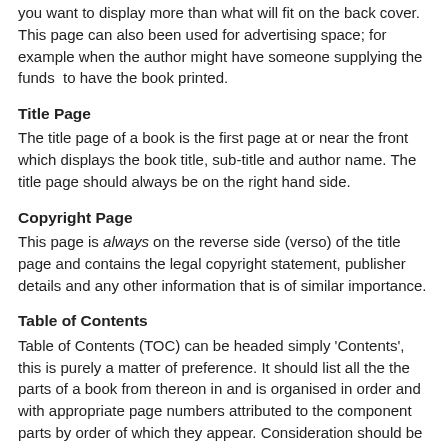you want to display more than what will fit on the back cover. This page can also been used for advertising space; for example when the author might have someone supplying the funds  to have the book printed.
Title Page
The title page of a book is the first page at or near the front which displays the book title, sub-title and author name. The title page should always be on the right hand side.
Copyright Page
This page is always on the reverse side (verso) of the title page and contains the legal copyright statement, publisher details and any other information that is of similar importance.
Table of Contents
Table of Contents (TOC) can be headed simply 'Contents', this is purely a matter of preference. It should list all the the parts of a book from thereon in and is organised in order and with appropriate page numbers attributed to the component parts by order of which they appear. Consideration should be given to first-level and second-level